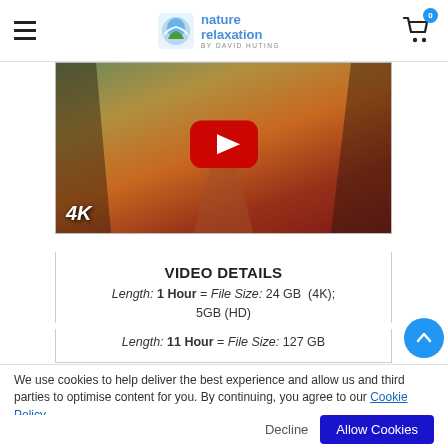nature relaxation BY DAVID HUTING | cart: 0
[Figure (screenshot): YouTube video thumbnail showing an autumn forest path with 4K label in bottom left and red YouTube play button in center]
VIDEO DETAILS
Length: 1 Hour = File Size: 24 GB (4K); 5GB (HD)
Length: 11 Hour = File Size: 127 GB
We use cookies to help deliver the best experience and allow us and third parties to optimise content for you. By continuing, you agree to our Cookie Policy.
Decline | Allow Cookies